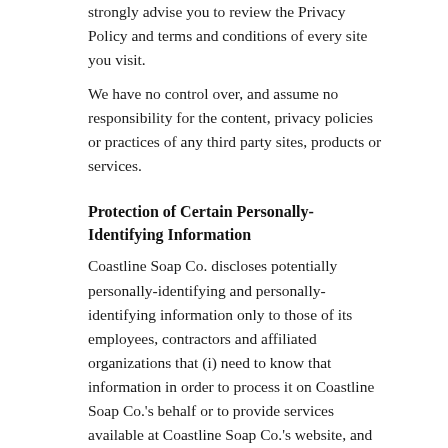strongly advise you to review the Privacy Policy and terms and conditions of every site you visit.
We have no control over, and assume no responsibility for the content, privacy policies or practices of any third party sites, products or services.
Protection of Certain Personally-Identifying Information
Coastline Soap Co. discloses potentially personally-identifying and personally-identifying information only to those of its employees, contractors and affiliated organizations that (i) need to know that information in order to process it on Coastline Soap Co.'s behalf or to provide services available at Coastline Soap Co.'s website, and (ii) that have agreed not to disclose it to others. Some of those employees, contractors and affiliated